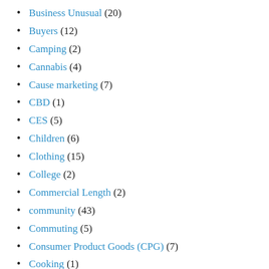Business Unusual (20)
Buyers (12)
Camping (2)
Cannabis (4)
Cause marketing (7)
CBD (1)
CES (5)
Children (6)
Clothing (15)
College (2)
Commercial Length (2)
community (43)
Commuting (5)
Consumer Product Goods (CPG) (7)
Cooking (1)
Country Music (3)